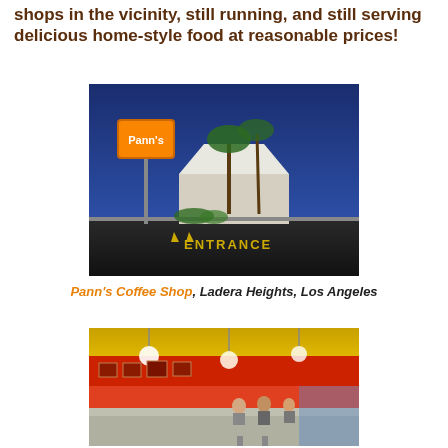shops in the vicinity, still running, and still serving delicious home-style food at reasonable prices!
[Figure (photo): Exterior night shot of Pann's Coffee Shop with illuminated sign, palm trees, white mid-century modern roof, and parking lot entrance markings]
Pann's Coffee Shop, Ladera Heights, Los Angeles
[Figure (photo): Interior of a diner with red walls, hanging globe lights, counter seating, and customers visible in the background]